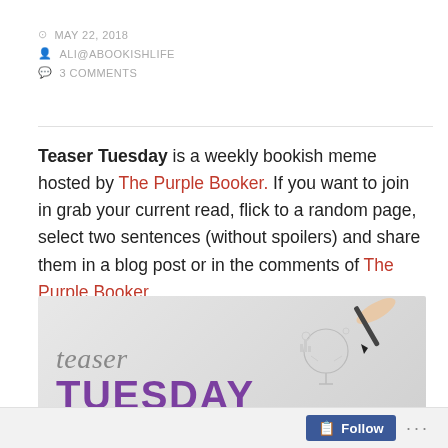MAY 22, 2018 | ALI@ABOOKISHLIFE | 3 COMMENTS
Teaser Tuesday is a weekly bookish meme hosted by The Purple Booker. If you want to join in grab your current read, flick to a random page, select two sentences (without spoilers) and share them in a blog post or in the comments of The Purple Booker.
[Figure (illustration): Teaser Tuesday blog banner image with cursive 'teaser' text above bold purple 'TUESDAY' text, and a hand holding a pen drawing light bulb doodles on the right side. URL www.ThePurpleBooker.com shown at bottom.]
Follow ...